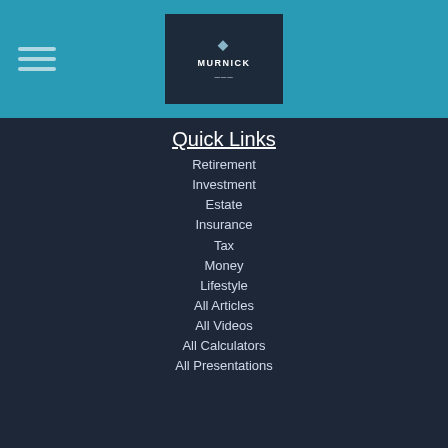[Figure (logo): Murnick financial advisor logo — dark navy rectangle with diamond icon and 'MURNICK' text in white on teal header background with hamburger menu lines on left]
Quick Links
Retirement
Investment
Estate
Insurance
Tax
Money
Lifestyle
All Articles
All Videos
All Calculators
All Presentations
Check the background of your financial professional on FINRA's BrokerCheck.
The content is developed from sources believed to be providing accurate information. The information in this material is not intended as tax or legal advice. Please consult legal or tax professionals for specific information regarding your individual situation. Some of this material was developed and produced by FMG Suite to provide information on a topic that may be of interest. FMG Suite is not